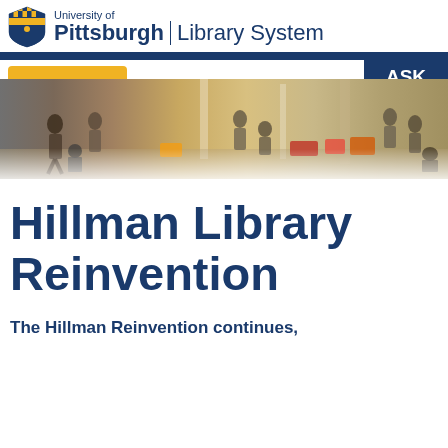University of Pittsburgh | Library System
[Figure (screenshot): University of Pittsburgh Library System website header with logo, menu button, Ask Us button, and banner photo of library interior with people]
Hillman Library Reinvention
The Hillman Reinvention continues,